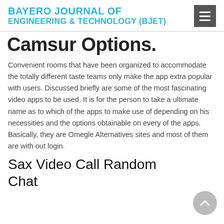BAYERO JOURNAL OF ENGINEERING & TECHNOLOGY (BJET)
Camsur Options.
Convenient rooms that have been organized to accommodate the totally different taste teams only make the app extra popular with users. Discussed briefly are some of the most fascinating video apps to be used. It is for the person to take a ultimate name as to which of the apps to make use of depending on his necessities and the options obtainable on every of the apps. Basically, they are Omegle Alternatives sites and most of them are with out login.
Sax Video Call Random Chat